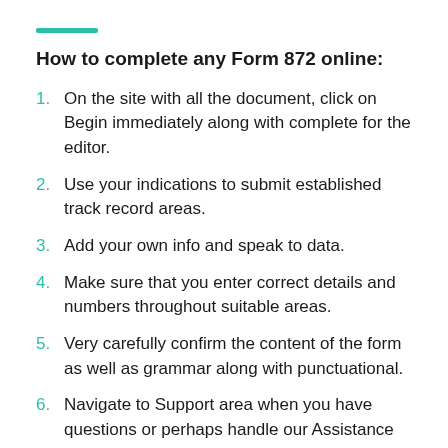How to complete any Form 872 online:
On the site with all the document, click on Begin immediately along with complete for the editor.
Use your indications to submit established track record areas.
Add your own info and speak to data.
Make sure that you enter correct details and numbers throughout suitable areas.
Very carefully confirm the content of the form as well as grammar along with punctuational.
Navigate to Support area when you have questions or perhaps handle our Assistance team.